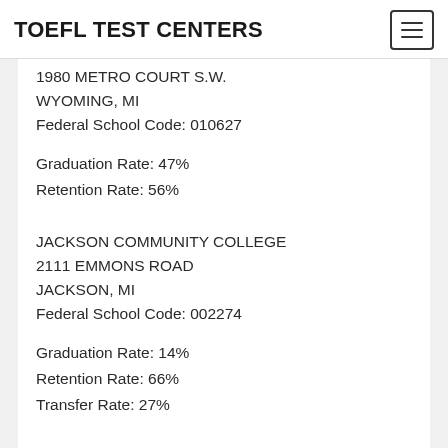TOEFL TEST CENTERS
1980 METRO COURT S.W.
WYOMING, MI
Federal School Code: 010627
Graduation Rate: 47%
Retention Rate: 56%
JACKSON COMMUNITY COLLEGE
2111 EMMONS ROAD
JACKSON, MI
Federal School Code: 002274
Graduation Rate: 14%
Retention Rate: 66%
Transfer Rate: 27%